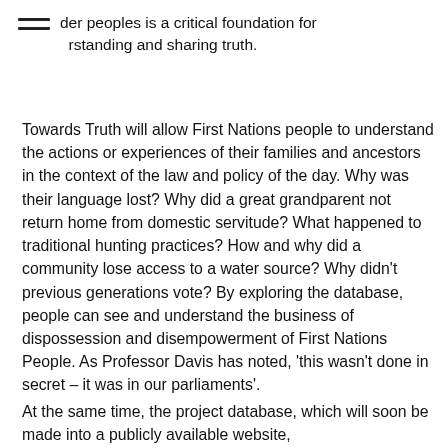der peoples is a critical foundation for understanding and sharing truth.
Towards Truth will allow First Nations people to understand the actions or experiences of their families and ancestors in the context of the law and policy of the day. Why was their language lost? Why did a great grandparent not return home from domestic servitude? What happened to traditional hunting practices? How and why did a community lose access to a water source? Why didn't previous generations vote? By exploring the database, people can see and understand the business of dispossession and disempowerment of First Nations People. As Professor Davis has noted, ‘this wasn’t done in secret – it was in our parliaments’.
At the same time, the project database, which will soon be made into a publicly available website,